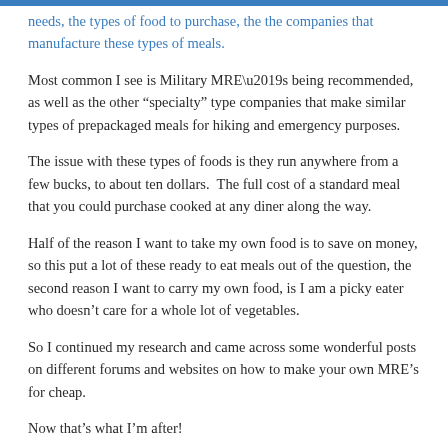needs, the types of food to purchase, the the companies that manufacture these types of meals.
Most common I see is Military MRE’s being recommended, as well as the other “specialty” type companies that make similar types of prepackaged meals for hiking and emergency purposes.
The issue with these types of foods is they run anywhere from a few bucks, to about ten dollars.  The full cost of a standard meal that you could purchase cooked at any diner along the way.
Half of the reason I want to take my own food is to save on money, so this put a lot of these ready to eat meals out of the question, the second reason I want to carry my own food, is I am a picky eater who doesn’t care for a whole lot of vegetables.
So I continued my research and came across some wonderful posts on different forums and websites on how to make your own MRE’s for cheap.
Now that’s what I’m after!
I was amazed I hadn’t thought about this before, in fact It just wasn’t one of those